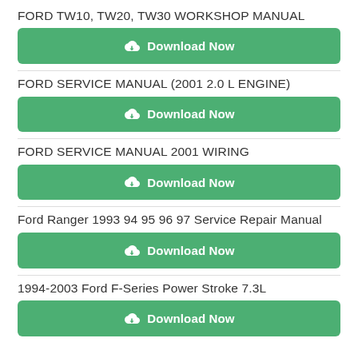FORD TW10, TW20, TW30 WORKSHOP MANUAL
[Figure (other): Green Download Now button with cloud icon]
FORD SERVICE MANUAL (2001 2.0 L ENGINE)
[Figure (other): Green Download Now button with cloud icon]
FORD SERVICE MANUAL 2001 WIRING
[Figure (other): Green Download Now button with cloud icon]
Ford Ranger 1993 94 95 96 97 Service Repair Manual
[Figure (other): Green Download Now button with cloud icon]
1994-2003 Ford F-Series Power Stroke 7.3L
[Figure (other): Green Download Now button with cloud icon]